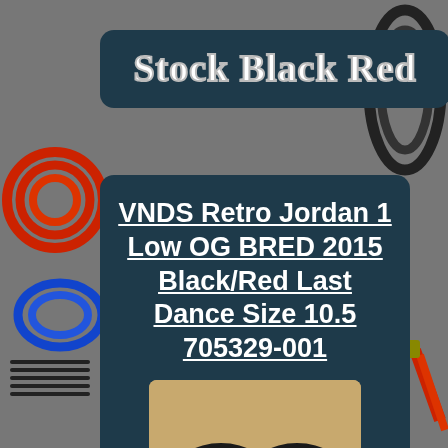Stock Black Red
VNDS Retro Jordan 1 Low OG BRED 2015 Black/Red Last Dance Size 10.5 705329-001
[Figure (photo): Photo of black Nike Air Jordan 1 Low OG BRED sneakers viewed from above on a sandy/tan background]